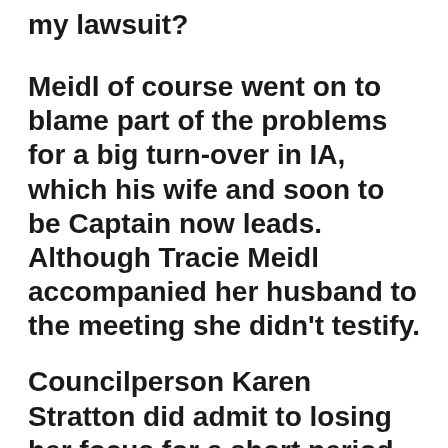my lawsuit?
Meidl of course went on to blame part of the problems for a big turn-over in IA, which his wife and soon to be Captain now leads. Although Tracie Meidl accompanied her husband to the meeting she didn’t testify.
Councilperson Karen Stratton did admit to losing her focus for a short period after I had brought up some factual